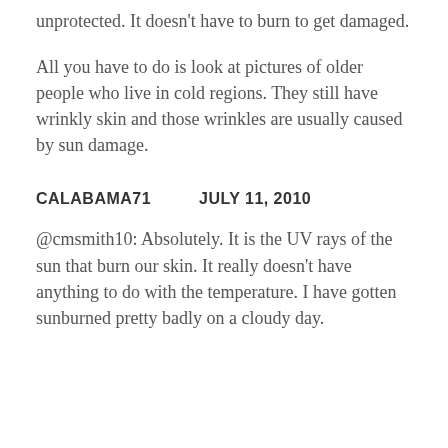unprotected. It doesn't have to burn to get damaged.
All you have to do is look at pictures of older people who live in cold regions. They still have wrinkly skin and those wrinkles are usually caused by sun damage.
CALABAMA71        JULY 11, 2010
@cmsmith10: Absolutely. It is the UV rays of the sun that burn our skin. It really doesn't have anything to do with the temperature. I have gotten sunburned pretty badly on a cloudy day.